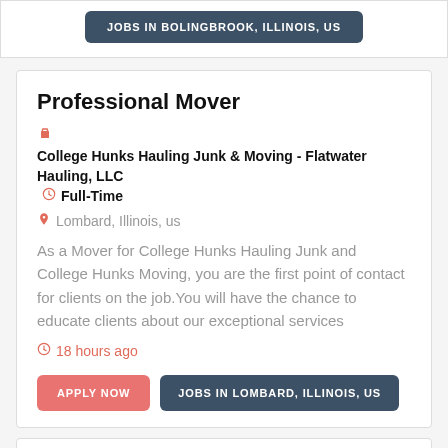JOBS IN BOLINGBROOK, ILLINOIS, US
Professional Mover
College Hunks Hauling Junk & Moving - Flatwater Hauling, LLC  Full-Time
Lombard, Illinois, us
As a Mover for College Hunks Hauling Junk and College Hunks Moving, you are the first point of contact for clients on the job.You will have the chance to educate clients about our exceptional services
18 hours ago
APPLY NOW
JOBS IN LOMBARD, ILLINOIS, US
Junk Removal Specialist - Hiring